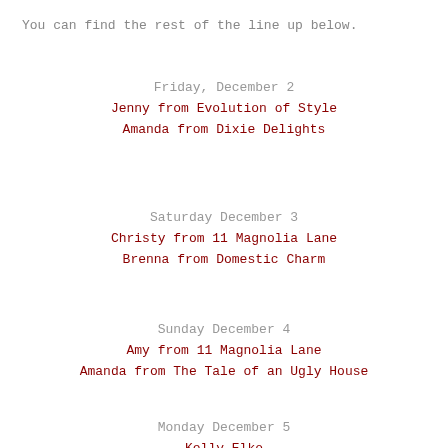You can find the rest of the line up below.
Friday, December 2
Jenny from Evolution of Style
Amanda from Dixie Delights
Saturday December 3
Christy from 11 Magnolia Lane
Brenna from Domestic Charm
Sunday December 4
Amy from 11 Magnolia Lane
Amanda from The Tale of an Ugly House
Monday December 5
Kelly Elko